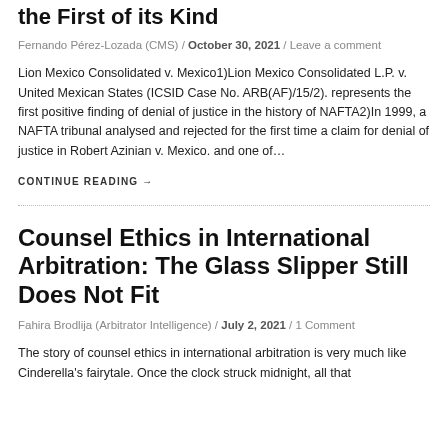the First of its Kind
Fernando Pérez-Lozada (CMS) / October 30, 2021 / Leave a comment
Lion Mexico Consolidated v. Mexico1)Lion Mexico Consolidated L.P. v. United Mexican States (ICSID Case No. ARB(AF)/15/2). represents the first positive finding of denial of justice in the history of NAFTA2)In 1999, a NAFTA tribunal analysed and rejected for the first time a claim for denial of justice in Robert Azinian v. Mexico. and one of…
CONTINUE READING →
Counsel Ethics in International Arbitration: The Glass Slipper Still Does Not Fit
Fahira Brodlija (Arbitrator Intelligence) / July 2, 2021 / 1 Comment
The story of counsel ethics in international arbitration is very much like Cinderella's fairytale. Once the clock struck midnight, all that